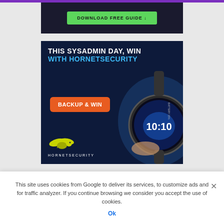[Figure (screenshot): Download Free Guide green button on dark background]
[Figure (infographic): Hornetsecurity sysadmin day ad banner: 'THIS SYSADMIN DAY, WIN WITH HORNETSECURITY' with BACKUP & WIN orange button, Hornetsecurity logo, and smartwatch image showing 10:10]
This site uses cookies from Google to deliver its services, to customize ads and for traffic analyzer. If you continue browsing we consider you accept the use of cookies.
Ok